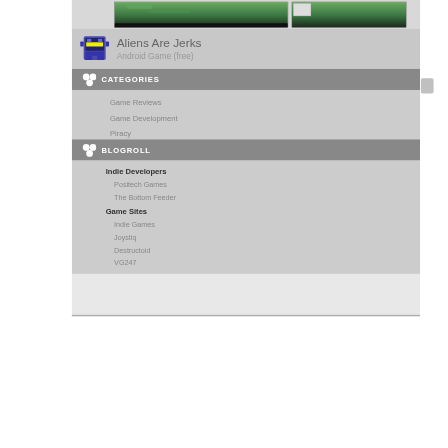[Figure (screenshot): Top banner area with two map/game screenshots showing green landmasses]
[Figure (illustration): Pixel art alien robot icon for Aliens Are Jerks Android game]
Aliens Are Jerks
Android Game (free)
CATEGORIES
Game Reviews
Game Development
Piracy
BLOGROLL
Indie Developers
Positech Games
The Bottom Feeder
Game Sites
Indie Games
Joystiq
Destructoid
VG247